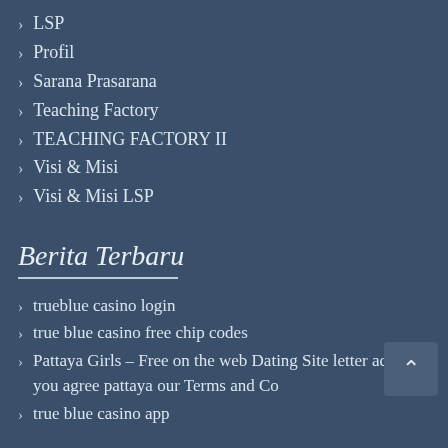LSP
Profil
Sarana Prasarana
Teaching Factory
TEACHING FACTORY II
Visi & Misi
Visi & Misi LSP
Berita Terbaru
trueblue casino login
true blue casino free chip codes
Pattaya Girls – Free on the web Dating Site letter account you agree pattaya our Terms and Co
true blue casino app